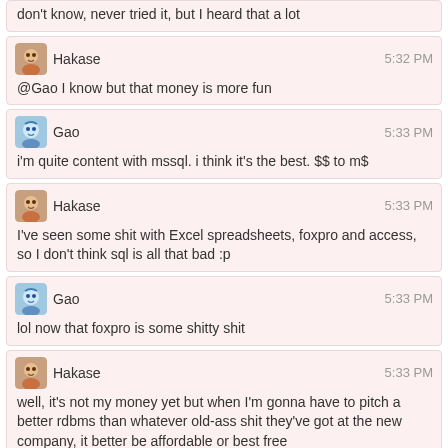don't know, never tried it, but I heard that a lot
Hakase 5:32 PM
@Gao I know but that money is more fun
Gao 5:33 PM
i'm quite content with mssql. i think it's the best. $$ to m$
Hakase 5:33 PM
I've seen some shit with Excel spreadsheets, foxpro and access, so I don't think sql is all that bad :p
Gao 5:33 PM
lol now that foxpro is some shitty shit
Hakase 5:33 PM
well, it's not my money yet but when I'm gonna have to pitch a better rdbms than whatever old-ass shit they've got at the new company, it better be affordable or best free
Unihedron 5:34 PM
isshukan friends
Hakase 5:34 PM
myanimelist.net/anime/21327/Isshuukan_Friends
a pretty nice one
Unihedron 5:34 PM
sql is fun if you're in the right mindset for it. I love getting raped by ORDER BY and the